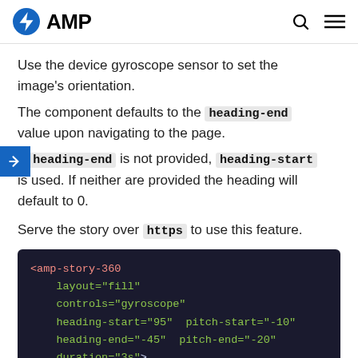AMP
Use the device gyroscope sensor to set the image's orientation.
The component defaults to the heading-end value upon navigating to the page.
If heading-end is not provided, heading-start is used. If neither are provided the heading will default to 0.
Serve the story over https to use this feature.
[Figure (screenshot): Code block showing amp-story-360 element with attributes: layout="fill", controls="gyroscope", heading-start="95" pitch-start="-10", heading-end="-45" pitch-end="-20", duration="3s"]